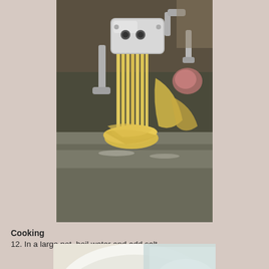[Figure (photo): A pasta machine (KitchenAid attachment) cutting fresh yellow pasta dough into flat noodles on a stainless steel surface dusted with flour.]
Cooking
12. In a large pot, boil water and add salt.
[Figure (photo): Close-up of fresh pasta dough balls in a white bowl with water/steam visible in the background.]